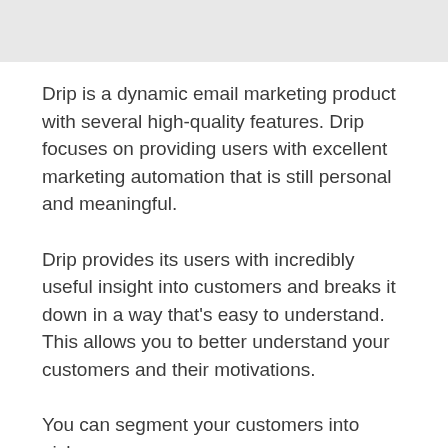[Figure (other): Gray banner/image area at top of page]
Drip is a dynamic email marketing product with several high-quality features. Drip focuses on providing users with excellent marketing automation that is still personal and meaningful.
Drip provides its users with incredibly useful insight into customers and breaks it down in a way that's easy to understand. This allows you to better understand your customers and their motivations.
You can segment your customers into niche